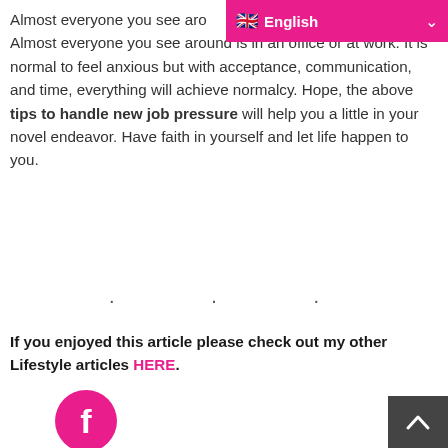English
Almost everyone you see around is in an office or at work. It is normal to feel anxious but with acceptance, communication, and time, everything will achieve normalcy. Hope, the above tips to handle new job pressure will help you a little in your novel endeavor. Have faith in yourself and let life happen to you.
. . .
If you enjoyed this article please check out my other Lifestyle articles HERE.
[Figure (illustration): Pink circular Facebook social share button with white 'f' icon]
[Figure (illustration): Pink circular Twitter social share button with white bird icon]